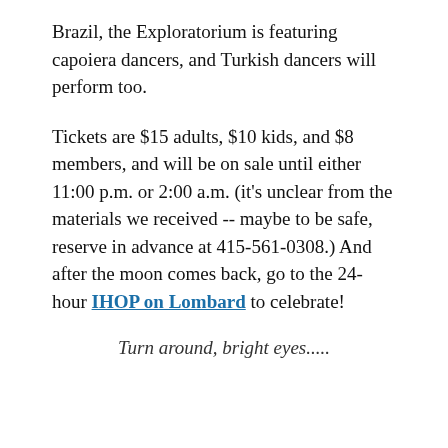Brazil, the Exploratorium is featuring capoiera dancers, and Turkish dancers will perform too.
Tickets are $15 adults, $10 kids, and $8 members, and will be on sale until either 11:00 p.m. or 2:00 a.m. (it's unclear from the materials we received -- maybe to be safe, reserve in advance at 415-561-0308.) And after the moon comes back, go to the 24-hour IHOP on Lombard to celebrate!
Turn around, bright eyes.....